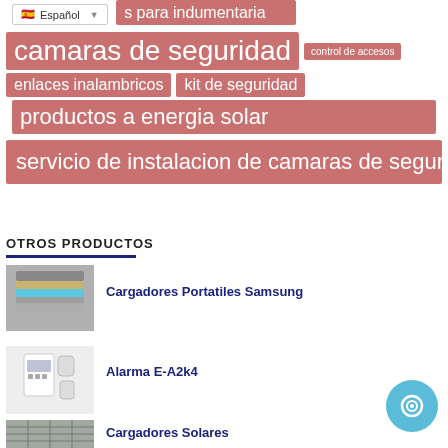[Figure (screenshot): Website tag cloud with Spanish language selector and product category tags including: (partial) 's para indumentaria', 'camaras de seguridad', 'control de accesos', 'enlaces inalambricos', 'kit de seguridad', 'productos a energia solar', 'servicio de instalacion de camaras de seguridad y alarmas']
OTROS PRODUCTOS
[Figure (photo): Portable Samsung charger power banks stacked in various colors (grey, blue, gold)]
Cargadores Portatiles Samsung
[Figure (photo): Alarm system kit E-A2k4 with panel and sensors]
Alarma E-A2k4
[Figure (photo): Solar charger product]
Cargadores Solares